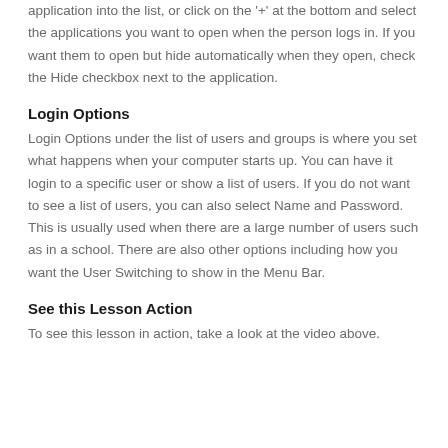application into the list, or click on the '+' at the bottom and select the applications you want to open when the person logs in. If you want them to open but hide automatically when they open, check the Hide checkbox next to the application.
Login Options
Login Options under the list of users and groups is where you set what happens when your computer starts up. You can have it login to a specific user or show a list of users. If you do not want to see a list of users, you can also select Name and Password. This is usually used when there are a large number of users such as in a school. There are also other options including how you want the User Switching to show in the Menu Bar.
See this Lesson Action
To see this lesson in action, take a look at the video above.